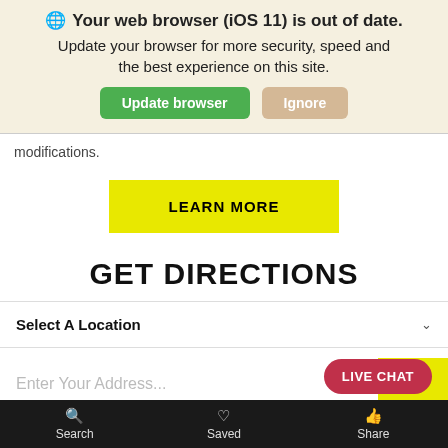🌐 Your web browser (iOS 11) is out of date. Update your browser for more security, speed and the best experience on this site.
Update browser
Ignore
modifications.
LEARN MORE
GET DIRECTIONS
Select A Location
Enter Your Address...
GO
LIVE CHAT
Search   Saved   Share